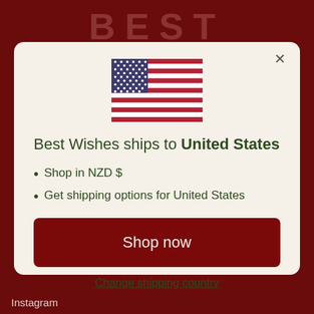BEST
[Figure (illustration): US flag SVG illustration inside modal dialog]
Best Wishes ships to United States
Shop in NZD $
Get shipping options for United States
Shop now
Change shipping country
Instagram